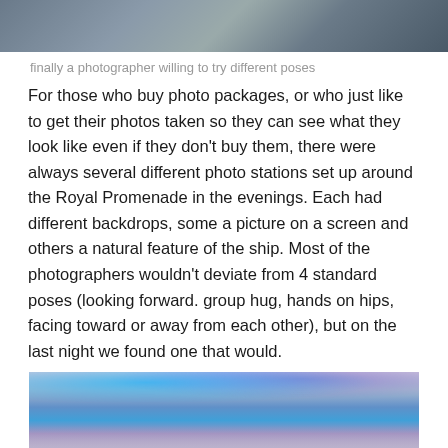[Figure (photo): Top portion of a photo showing people at what appears to be a cruise ship photo station with purple/blue lighting]
finally a photographer willing to try different poses
For those who buy photo packages, or who just like to get their photos taken so they can see what they look like even if they don't buy them, there were always several different photo stations set up around the Royal Promenade in the evenings. Each had different backdrops, some a picture on a screen and others a natural feature of the ship. Most of the photographers wouldn't deviate from 4 standard poses (looking forward. group hug, hands on hips, facing toward or away from each other), but on the last night we found one that would.
[Figure (photo): Bottom portion showing interior of cruise ship Royal Promenade area with blue and purple LED ceiling lights]